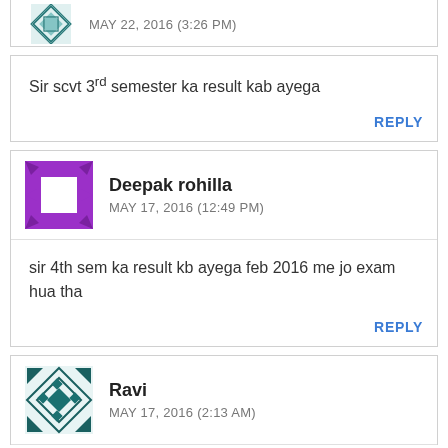[Figure (other): Partial comment block showing avatar icon (teal geometric pattern) and partial date text MAY 22, 2016 (3:26 PM) cut off at top]
Sir scvt 3rd semester ka result kab ayega
REPLY
[Figure (other): Purple geometric avatar icon for Deepak rohilla]
Deepak rohilla
MAY 17, 2016 (12:49 PM)
sir 4th sem ka result kb ayega feb 2016 me jo exam hua tha
REPLY
[Figure (other): Teal geometric avatar icon for Ravi]
Ravi
MAY 17, 2016 (2:13 AM)